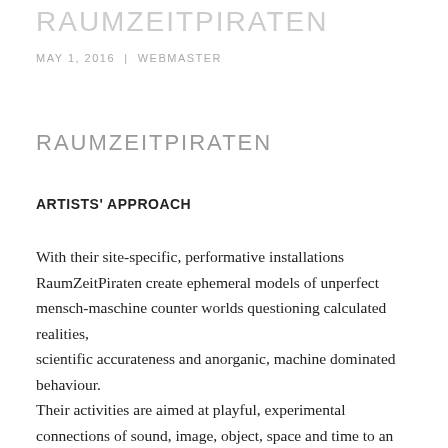RAUMZEITPIRATEN
MAY 1, 2016  |  WEBMASTER
RAUMZEITPIRATEN
ARTISTS' APPROACH
With their site-specific, performative installations RaumZeitPiraten create ephemeral models of unperfect mensch-maschine counter worlds questioning calculated realities,
scientific accurateness and anorganic, machine dominated behaviour.
Their activities are aimed at playful, experimental connections of sound, image, object, space and time to an alternately-self-expanding-multimedia-performance